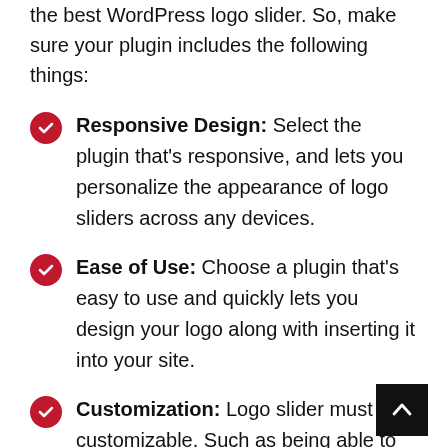the best WordPress logo slider. So, make sure your plugin includes the following things:
Responsive Design: Select the plugin that's responsive, and lets you personalize the appearance of logo sliders across any devices.
Ease of Use: Choose a plugin that's easy to use and quickly lets you design your logo along with inserting it into your site.
Customization: Logo slider must be customizable. Such as being able to